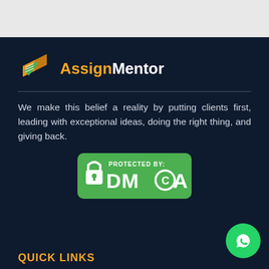[Figure (logo): AssignMentor logo with book/checkmark icon, orange and white text]
We make this belief a reality by putting clients first, leading with exceptional ideas, doing the right thing, and giving back.
[Figure (other): PROTECTED BY DMCA green badge/logo]
QUICK LINKS